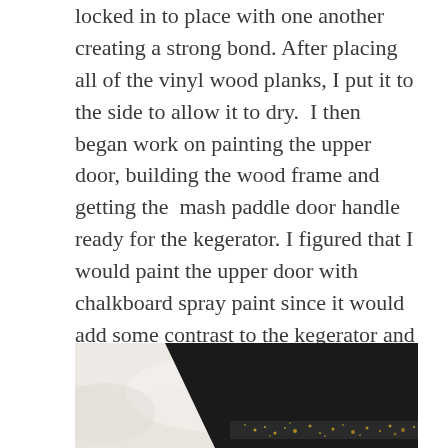locked in to place with one another creating a strong bond. After placing all of the vinyl wood planks, I put it to the side to allow it to dry.  I then began work on painting the upper door, building the wood frame and getting the  mash paddle door handle ready for the kegerator. I figured that I would paint the upper door with chalkboard spray paint since it would add some contrast to the kegerator and also give me the option of adding some notes about the beer being served or allowing me to change the appearance of the fridge by changing up what was drawn on the board. Painting the door was easy and I gave it two coats of paint.
[Figure (photo): A black painted panel or door with a speckled/glittery gold detail at the bottom edge, resting on white fabric or cloth material against a concrete-like surface.]